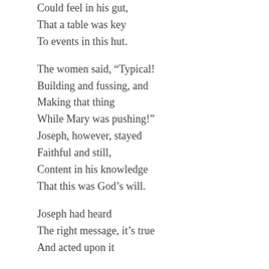Could feel in his gut,
That a table was key
To events in this hut.

The women said, “Typical!
Building and fussing, and
Making that thing
While Mary was pushing!”
Joseph, however, stayed
Faithful and still,
Content in his knowledge
That this was God’s will.

Joseph had heard
The right message, it’s true
And acted upon it